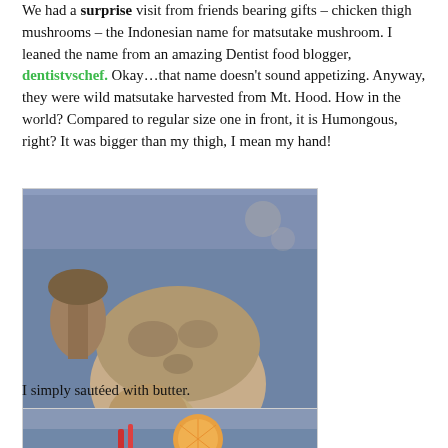We had a surprise visit from friends bearing gifts – chicken thigh mushrooms – the Indonesian name for matsutake mushroom. I leaned the name from an amazing Dentist food blogger, dentistvschef. Okay…that name doesn't sound appetizing. Anyway, they were wild matsutake harvested from Mt. Hood. How in the world? Compared to regular size one in front, it is Humongous, right? It was bigger than my thigh, I mean my hand!
[Figure (photo): A large matsutake mushroom sitting on a blue plate, with smaller mushrooms visible behind it. The mushroom is large, bulbous, brown and white, photographed close-up on a decorative surface.]
I simply sautéed with butter.
[Figure (photo): A blue plate with cooked mushrooms, vegetables including cucumber and orange slices, and other food items visible in the background.]